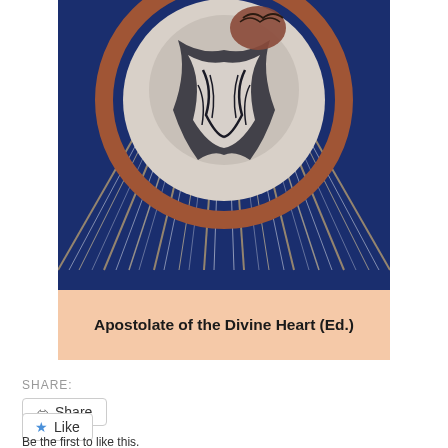[Figure (illustration): Religious painting showing a radiant sacred heart image: a circular medallion with a stylized heart or figure at center, surrounded by flowing white and blue drapery forms, within a terracotta/brown circular border. A deep blue background with golden and white radiating beams/spikes emanating outward from the medallion in all directions.]
Apostolate of the Divine Heart (Ed.)
SHARE:
Share
Like
Be the first to like this.